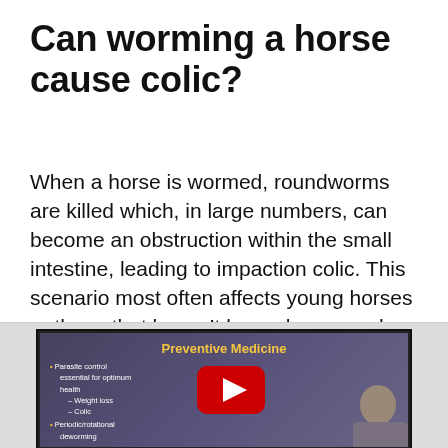Can worming a horse cause colic?
When a horse is wormed, roundworms are killed which, in large numbers, can become an obstruction within the small intestine, leading to impaction colic. This scenario most often affects young horses or those that haven't been de-wormed regularly.
[Figure (screenshot): A YouTube video thumbnail showing a presentation slide titled 'Preventive Medicine' with bullet points about parasite control (essential for optimum health, weight loss, colic) and periodic/rotational deworming. A YouTube play button is visible in the center, and a person is partially visible in the lower right corner.]